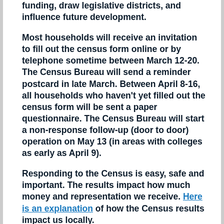funding, draw legislative districts, and influence future development.
Most households will receive an invitation to fill out the census form online or by telephone sometime between March 12-20. The Census Bureau will send a reminder postcard in late March. Between April 8-16, all households who haven't yet filled out the census form will be sent a paper questionnaire. The Census Bureau will start a non-response follow-up (door to door) operation on May 13 (in areas with colleges as early as April 9).
Responding to the Census is easy, safe and important. The results impact how much money and representation we receive. Here is an explanation of how the Census results impact us locally.